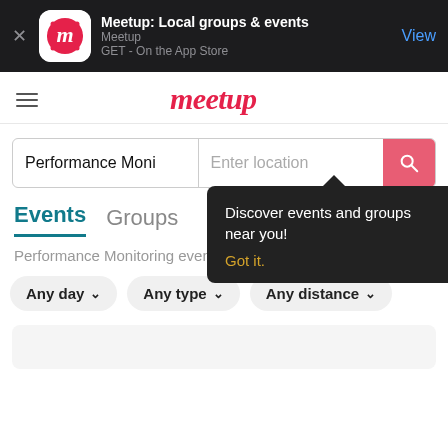[Figure (screenshot): Meetup app App Store banner with app icon, title 'Meetup: Local groups & events', subtitle 'Meetup', 'GET - On the App Store', and a 'View' button on dark background]
[Figure (logo): Meetup website logo in red cursive script]
Performance Moni
Enter location
Discover events and groups near you!
Got it.
Events
Groups
Performance Monitoring events near New York, NY
Any day ∨
Any type ∨
Any distance ∨